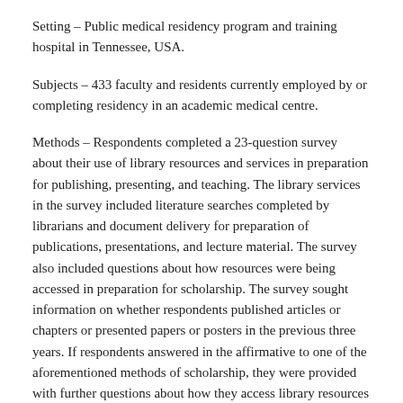Setting – Public medical residency program and training hospital in Tennessee, USA.
Subjects – 433 faculty and residents currently employed by or completing residency in an academic medical centre.
Methods – Respondents completed a 23-question survey about their use of library resources and services in preparation for publishing, presenting, and teaching. The library services in the survey included literature searches completed by librarians and document delivery for preparation of publications, presentations, and lecture material. The survey also included questions about how resources were being accessed in preparation for scholarship. The survey sought information on whether respondents published articles or chapters or presented papers or posters in the previous three years. If respondents answered in the affirmative to one of the aforementioned methods of scholarship, they were provided with further questions about how they access library resources and whether they sought mediated literature search and document delivery services in preparation for their recent presentations and publications. The survey also included questions concerning what types of scholarly activity prompt